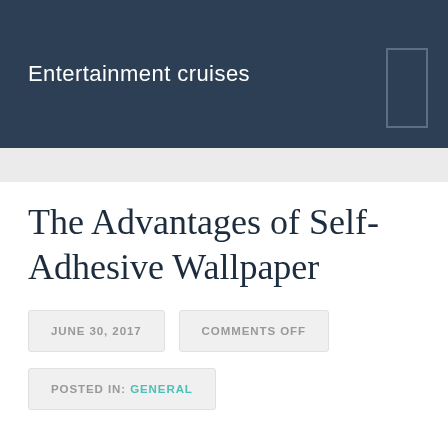Entertainment cruises
The Advantages of Self-Adhesive Wallpaper
JUNE 30, 2017
COMMENTS OFF
POSTED IN: GENERAL
The cost is Greater than Merely Painting, and also the amount of patterns, styles and varieties can be